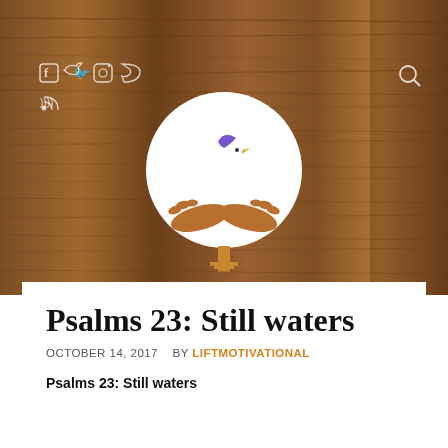[Figure (screenshot): Website header with wood-textured background, social media icon links (Facebook, Twitter, Instagram, Vimeo, RSS) on the left, a search icon on the right, and a centered circular logo featuring a white dove above cupped hands with purple and brown coloring.]
Psalms 23: Still waters
OCTOBER 14, 2017   BY LIFTMOTIVATIONAL
Psalms 23: Still waters